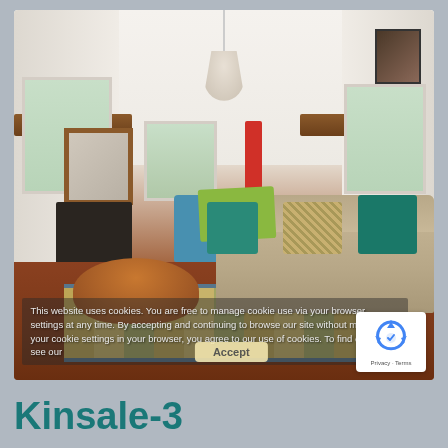[Figure (photo): Interior photo of a cottage living room with exposed wooden beams, a wood-burning stove, colourful sofa with teal and green pillows, a curved wooden coffee table, a blue rocking chair, an orange dresser, a red floor lamp, patterned rug, and multiple windows letting in natural light.]
This website uses cookies. You are free to manage cookie use via your browser settings at any time. By accepting and continuing to browse our site without managing your cookie settings in your browser, you agree to our use of cookies. To find out more, see our
Accept
[Figure (logo): Google reCAPTCHA logo — circular arrow icon in blue — with text 'Privacy - Terms' below]
Kinsale-3